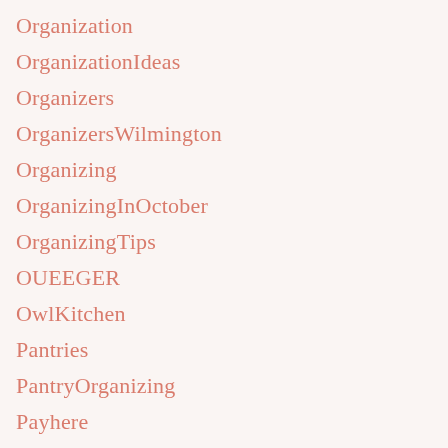Organization
OrganizationIdeas
Organizers
OrganizersWilmington
Organizing
OrganizingInOctober
OrganizingTips
OUEEGER
OwlKitchen
Pantries
PantryOrganizing
Payhere
Pipishell
policies